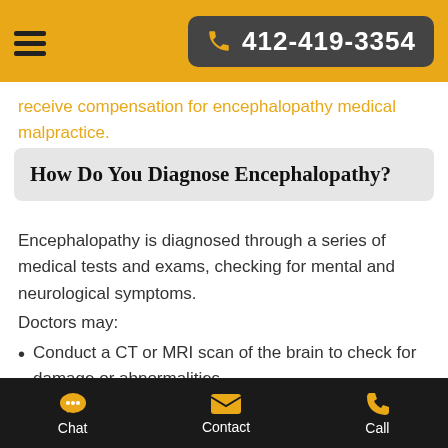412-419-3354
receive compensation for encephalopathy medical malpractice.
How Do You Diagnose Encephalopathy?
Encephalopathy is diagnosed through a series of medical tests and exams, checking for mental and neurological symptoms.
Doctors may:
Conduct a CT or MRI scan of the brain to check for damage or abnormalities
Use blood tests to check for diseases or imbalances
Chat   Contact   Call